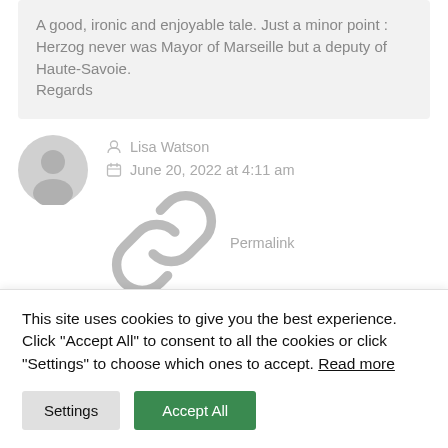A good, ironic and enjoyable tale. Just a minor point : Herzog never was Mayor of Marseille but a deputy of Haute-Savoie.
Regards
Lisa Watson
June 20, 2022 at 4:11 am
Permalink
I'm reading and thoroughly enjoying this right now.
This site uses cookies to give you the best experience. Click "Accept All" to consent to all the cookies or click "Settings" to choose which ones to accept. Read more